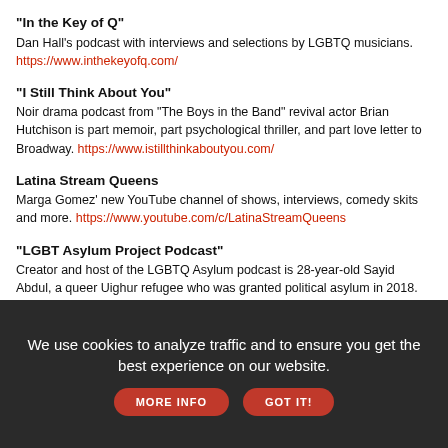"In the Key of Q"
Dan Hall's podcast with interviews and selections by LGBTQ musicians. https://www.inthekeyofq.com/
"I Still Think About You"
Noir drama podcast from "The Boys in the Band" revival actor Brian Hutchison is part memoir, part psychological thriller, and part love letter to Broadway. https://www.istillthinkaboutyou.com/
Latina Stream Queens
Marga Gomez' new YouTube channel of shows, interviews, comedy skits and more. https://www.youtube.com/c/LatinaStreamQueens
"LGBT Asylum Project Podcast"
Creator and host of the LGBTQ Asylum podcast is 28-year-old Sayid Abdul, a queer Uighur refugee who was granted political asylum in 2018. https://www.lgbtasylumproject.org/
We use cookies to analyze traffic and to ensure you get the best experience on our website.